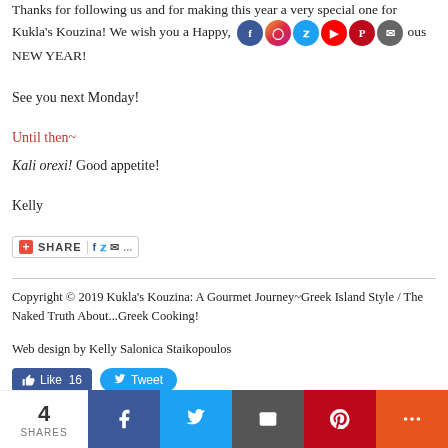Thanks for following us and for making this year a very special one for Kukla's Kouzina! We wish you a Happy, Healthy, Prosperous NEW YEAR!
See you next Monday!
Until then~
Kali orexi! Good appetite!
Kelly
[Figure (infographic): Share button with Facebook, Twitter, email icons]
Copyright © 2019 Kukla's Kouzina: A Gourmet Journey~Greek Island Style / The Naked Truth About...Greek Cooking!
Web design by Kelly Salonica Staikopoulos
[Figure (infographic): Like and Tweet social sharing buttons, and bottom social share bar with Facebook, Twitter, email, Pinterest, and more options showing 4 SHARES]